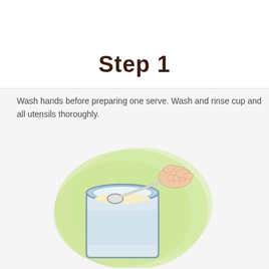Step 1
Wash hands before preparing one serve. Wash and rinse cup and all utensils thoroughly.
[Figure (illustration): Illustration showing a hand holding a scoop/spoon over an open tin/can of powdered formula or food, with a green watercolor splash background behind the can.]